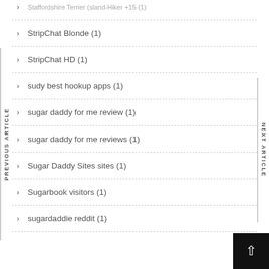StripChat Blonde (1)
StripChat HD (1)
sudy best hookup apps (1)
sugar daddy for me review (1)
sugar daddy for me reviews (1)
Sugar Daddy Sites sites (1)
Sugarbook visitors (1)
sugardaddie reddit (1)